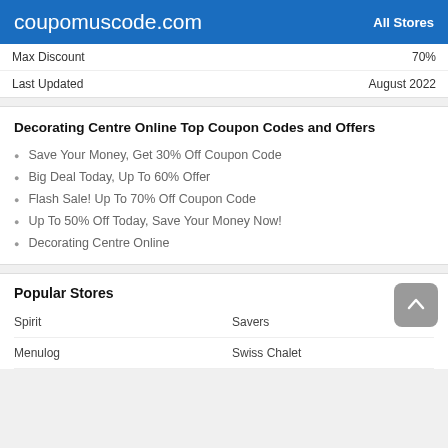coupomuscode.com   All Stores
Max Discount   70%
Last Updated   August 2022
Decorating Centre Online Top Coupon Codes and Offers
Save Your Money, Get 30% Off Coupon Code
Big Deal Today, Up To 60% Offer
Flash Sale! Up To 70% Off Coupon Code
Up To 50% Off Today, Save Your Money Now!
Decorating Centre Online
Popular Stores
Spirit
Savers
Menulog
Swiss Chalet